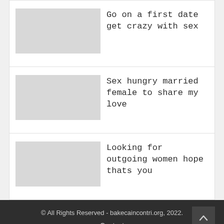Go on a first date get crazy with sex
Sex hungry married female to share my love
Looking for outgoing women hope thats you
© All Rights Reserved - bakecaincontri.org, 2022.
Contact